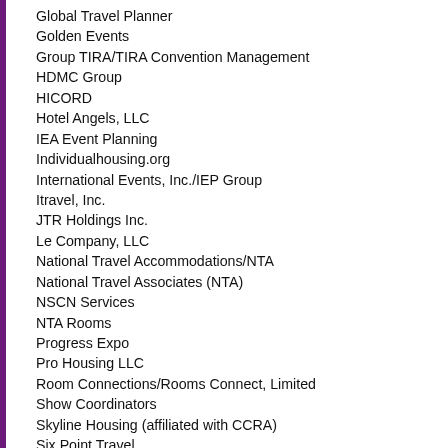Global Travel Planner
Golden Events
Group TIRA/TIRA Convention Management
HDMC Group
HICORD
Hotel Angels, LLC
IEA Event Planning
Individualhousing.org
International Events, Inc./IEP Group
Itravel, Inc.
JTR Holdings Inc.
Le Company, LLC
National Travel Accommodations/NTA
National Travel Associates (NTA)
NSCN Services
NTA Rooms
Progress Expo
Pro Housing LLC
Room Connections/Rooms Connect, Limited
Show Coordinators
Skyline Housing (affiliated with CCRA)
Six Point Travel
Stay Right Travel, LLC
Tatango LLC